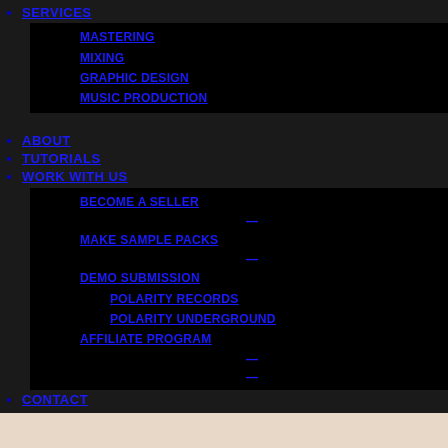SERVICES
MASTERING
MIXING
GRAPHIC DESIGN
MUSIC PRODUCTION
ABOUT
TUTORIALS
WORK WITH US
BECOME A SELLER
MAKE SAMPLE PACKS
DEMO SUBMISSION
POLARITY RECORDS
POLARITY UNDERGROUND
AFFILIATE PROGRAM
CONTACT
[Figure (photo): Beige/cream colored background image area at the bottom of the page]